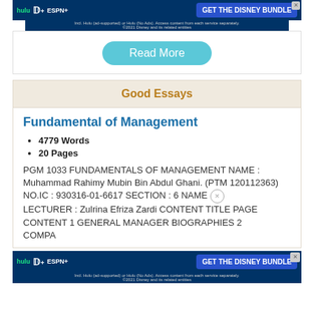[Figure (screenshot): Disney Bundle advertisement banner with Hulu, Disney+, ESPN+ logos and GET THE DISNEY BUNDLE button]
Read More
Good Essays
Fundamental of Management
4779 Words
20 Pages
PGM 1033 FUNDAMENTALS OF MANAGEMENT NAME : Muhammad Rahimy Mubin Bin Abdul Ghani. (PTM 120112363) NO.IC : 930316-01-6617 SECTION : 6 NAME LECTURER : Zulrina Efriza Zardi CONTENT TITLE PAGE CONTENT 1 GENERAL MANAGER BIOGRAPHIES 2 COMPA
[Figure (screenshot): Disney Bundle advertisement banner at bottom with Hulu, Disney+, ESPN+ logos and GET THE DISNEY BUNDLE button]